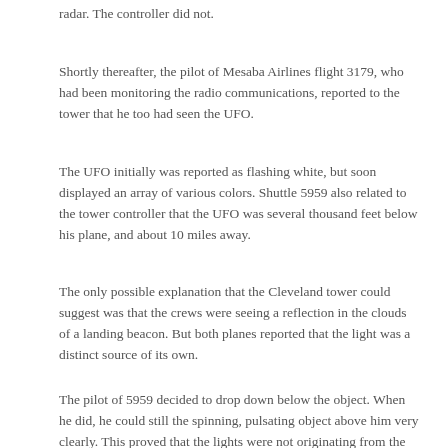radar. The controller did not.
Shortly thereafter, the pilot of Mesaba Airlines flight 3179, who had been monitoring the radio communications, reported to the tower that he too had seen the UFO.
The UFO initially was reported as flashing white, but soon displayed an array of various colors. Shuttle 5959 also related to the tower controller that the UFO was several thousand feet below his plane, and about 10 miles away.
The only possible explanation that the Cleveland tower could suggest was that the crews were seeing a reflection in the clouds of a landing beacon. But both planes reported that the light was a distinct source of its own.
The pilot of 5959 decided to drop down below the object. When he did, he could still the spinning, pulsating object above him very clearly. This proved that the lights were not originating from the ground.